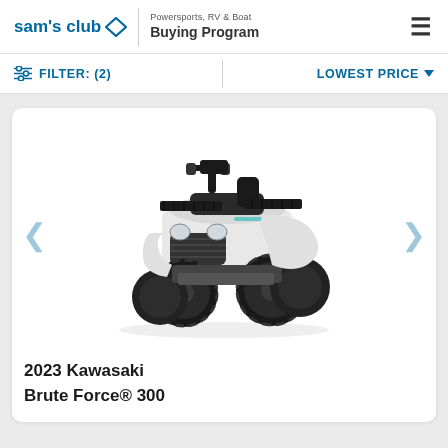sam's club — Powersports, RV & Boat Buying Program
FILTER: (2) | LOWEST PRICE ▼
[Figure (photo): 2023 Kawasaki Brute Force 300 ATV in white/grey color, angled front-right view showing front racks, handlebars, headlights, and four large off-road tires]
2023 Kawasaki
Brute Force® 300